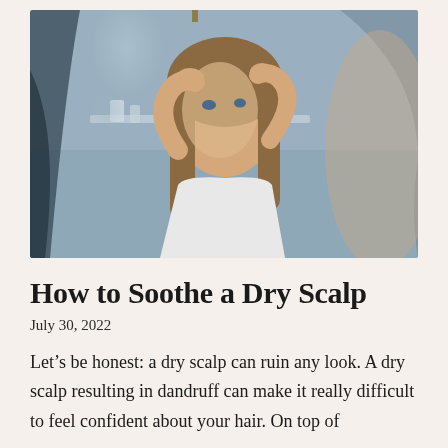[Figure (photo): A young woman with long brown hair examining her scalp in a bathroom mirror, wearing a white tank top. The bathroom background is blurred with soft blue-grey tones.]
How to Soothe a Dry Scalp
July 30, 2022
Let’s be honest: a dry scalp can ruin any look. A dry scalp resulting in dandruff can make it really difficult to feel confident about your hair. On top of